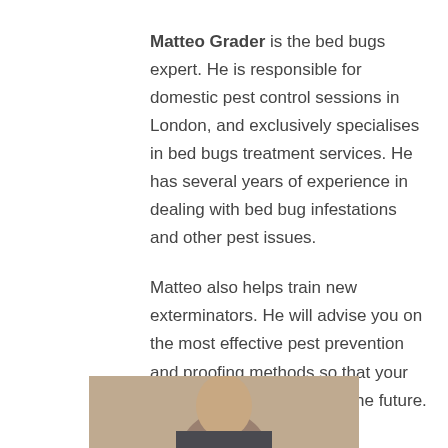Matteo Grader is the bed bugs expert. He is responsible for domestic pest control sessions in London, and exclusively specialises in bed bugs treatment services. He has several years of experience in dealing with bed bug infestations and other pest issues.
Matteo also helps train new exterminators. He will advise you on the most effective pest prevention and proofing methods so that your home stays vermin-free in the future.
[Figure (photo): Partial photo of a person (Matteo Grader) visible at the bottom of the page, showing the top of their head and shoulders]